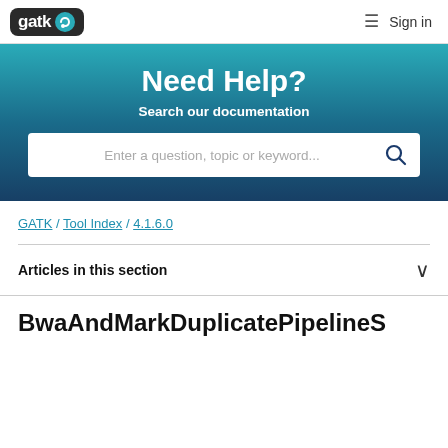[Figure (logo): GATK logo with wrench icon on dark background]
Sign in
Need Help?
Search our documentation
Enter a question, topic or keyword...
GATK / Tool Index / 4.1.6.0
Articles in this section
BwaAndMarkDuplicatePipelineS